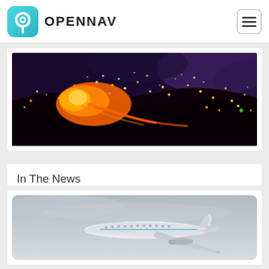OPENNAV
[Figure (photo): Aerial night view of a wildfire with glowing embers and flames against a dark sky]
In The News
[Figure (photo): An Airbus commercial aircraft in flight against a grey overcast sky]